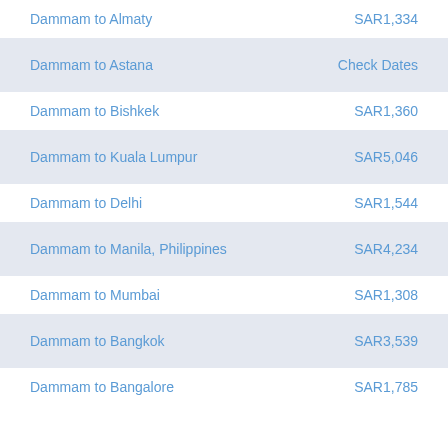Dammam to Almaty | SAR1,334
Dammam to Astana | Check Dates
Dammam to Bishkek | SAR1,360
Dammam to Kuala Lumpur | SAR5,046
Dammam to Delhi | SAR1,544
Dammam to Manila, Philippines | SAR4,234
Dammam to Mumbai | SAR1,308
Dammam to Bangkok | SAR3,539
Dammam to Bangalore | SAR1,785